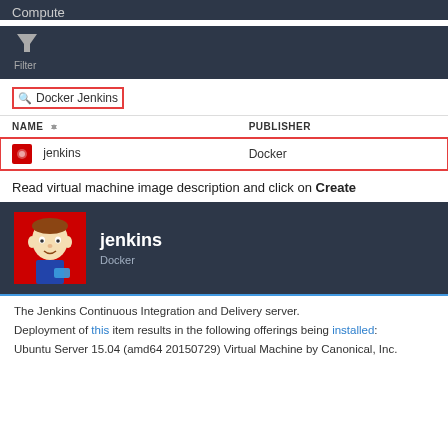Compute
[Figure (screenshot): Filter icon with label 'Filter' in dark navigation panel]
[Figure (screenshot): Search box with red border containing text 'Docker Jenkins']
| NAME | PUBLISHER |
| --- | --- |
| jenkins | Docker |
Read virtual machine image description and click on Create
[Figure (screenshot): Jenkins Docker image detail panel showing Jenkins logo, title 'jenkins', publisher 'Docker']
The Jenkins Continuous Integration and Delivery server.
Deployment of this item results in the following offerings being installed:
Ubuntu Server 15.04 (amd64 20150729) Virtual Machine by Canonical, Inc.